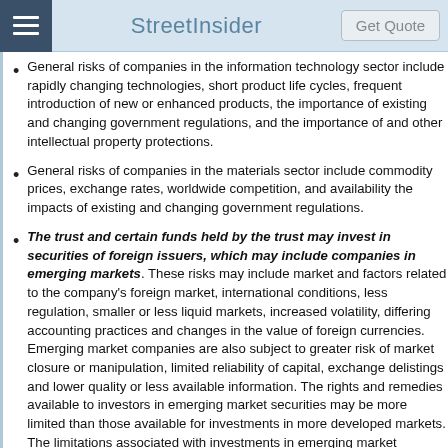StreetInsider | Get Quote
General risks of companies in the information technology sector include rapidly changing technologies, short product life cycles, frequent introduction of new or enhanced products, the importance of existing and changing government regulations, and the importance of and other intellectual property protections.
General risks of companies in the materials sector include commodity prices, exchange rates, worldwide competition, and availability the impacts of existing and changing government regulations.
The trust and certain funds held by the trust may invest in securities of foreign issuers, which may include companies in emerging markets. These risks may include market and factors related to the company's foreign market, international conditions, less regulation, smaller or less liquid markets, increased volatility, differing accounting practices and changes in the value of foreign currencies. Emerging market companies are also subject to greater risk of market closure or manipulation, limited reliability of capital, exchange delistings and lower quality or less available information. The rights and remedies available to investors in emerging market securities may be more limited than those available for investments in more developed markets. The limitations associated with investments in emerging market companies could impact the ability to achieve its investment objective.